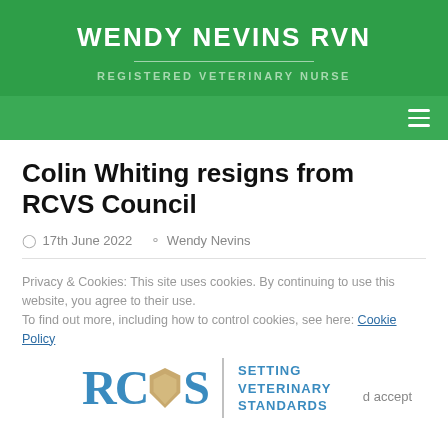WENDY NEVINS RVN
REGISTERED VETERINARY NURSE
Colin Whiting resigns from RCVS Council
17th June 2022   Wendy Nevins
Privacy & Cookies: This site uses cookies. By continuing to use this website, you agree to their use.
To find out more, including how to control cookies, see here: Cookie Policy
[Figure (logo): RCVS logo with shield emblem and text SETTING VETERINARY STANDARDS]